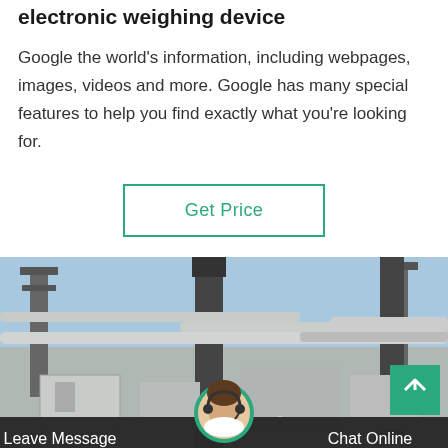electronic weighing device
Google the world's information, including webpages, images, videos and more. Google has many special features to help you find exactly what you're looking for.
Get Price
[Figure (photo): Industrial electrical substation or power plant facility with large pipes, towers, and electrical equipment under a blue sky. Bottom bar shows customer service chat interface with Leave Message and Chat Online buttons and a circular avatar of a female customer service representative with headset.]